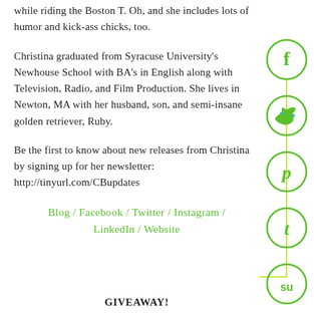while riding the Boston T. Oh, and she includes lots of humor and kick-ass chicks, too.
Christina graduated from Syracuse University's Newhouse School with BA's in English along with Television, Radio, and Film Production. She lives in Newton, MA with her husband, son, and semi-insane golden retriever, Ruby.
Be the first to know about new releases from Christina by signing up for her newsletter: http://tinyurl.com/CBupdates
Blog / Facebook / Twitter / Instagram / LinkedIn / Website
[Figure (infographic): Five green circular social media icons stacked vertically on the right side: Facebook (f), Twitter (bird), Pinterest (P), Tumblr (t), StumbleUpon (su). Connected by a vertical yellow-green line with a horizontal arrow pointing to the last icon.]
GIVEAWAY!